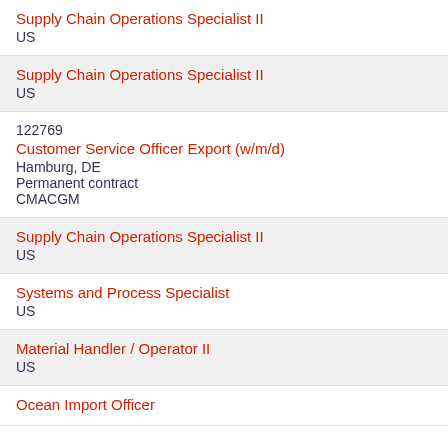Supply Chain Operations Specialist II
US
Supply Chain Operations Specialist II
US
122769
Customer Service Officer Export (w/m/d)
Hamburg, DE
Permanent contract
CMACGM
Supply Chain Operations Specialist II
US
Systems and Process Specialist
US
Material Handler / Operator II
US
Ocean Import Officer